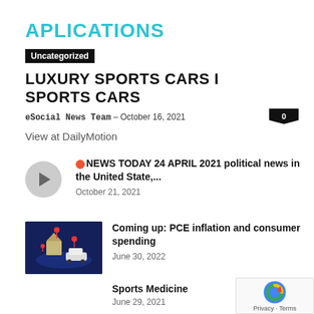APLICATIONS
Uncategorized
LUXURY SPORTS CARS I SPORTS CARS
eSocial News Team – October 16, 2021   0
View at DailyMotion
🔴NEWS TODAY 24 APRIL 2021 political news in the United State,...
October 21, 2021
Coming up: PCE inflation and consumer spending
June 30, 2022
Sports Medicine
June 29, 2021